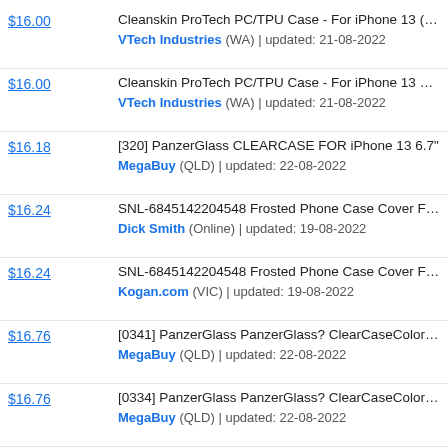$16.00 | Cleanskin ProTech PC/TPU Case - For iPhone 13 (6.1... | VTech Industries (WA) | updated: 21-08-2022
$16.00 | Cleanskin ProTech PC/TPU Case - For iPhone 13 Pro... | VTech Industries (WA) | updated: 21-08-2022
$16.18 | [320] PanzerGlass CLEARCASE FOR iPhone 13 6.7"... | MegaBuy (QLD) | updated: 22-08-2022
$16.24 | SNL-6845142204548 Frosted Phone Case Cover For i... | Dick Smith (Online) | updated: 19-08-2022
$16.24 | SNL-6845142204548 Frosted Phone Case Cover For i... | Kogan.com (VIC) | updated: 19-08-2022
$16.76 | [0341] PanzerGlass PanzerGlass? ClearCaseColor? A... | MegaBuy (QLD) | updated: 22-08-2022
$16.76 | [0334] PanzerGlass PanzerGlass? ClearCaseColor? A... | MegaBuy (QLD) | updated: 22-08-2022
$16.76 | [0314] PanzerGlass Clear Case for Apple iPhone 13 6.... | MegaBuy (QLD) | updated: 22-08-2022
$16.77 | [0331] PanzerGlass PanzerGlass? ClearCaseColor? A... | MegaBuy (QLD) | updated: 22-08-2022
$16.77 | [0312] PanzerGlass PanzerGlass? ClearCase?Apple i... | MegaBuy (QLD) | updated: 22-08-2022
$16.78 | [0329] PanzerGlass PanzerGlass? ClearCaseColor? A... | MegaBuy (QLD) | updated: 22-08-2022
Stores in bold are staticICE registered members.